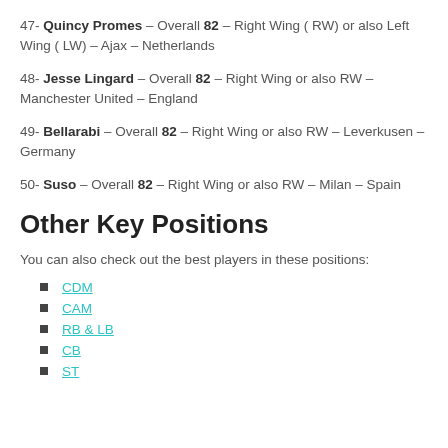47- Quincy Promes – Overall 82 – Right Wing ( RW) or also Left Wing ( LW) – Ajax – Netherlands
48- Jesse Lingard – Overall 82 – Right Wing or also RW – Manchester United – England
49- Bellarabi – Overall 82 – Right Wing or also RW – Leverkusen – Germany
50- Suso – Overall 82 – Right Wing or also RW – Milan – Spain
Other Key Positions
You can also check out the best players in these positions:
CDM
CAM
RB & LB
CB
ST